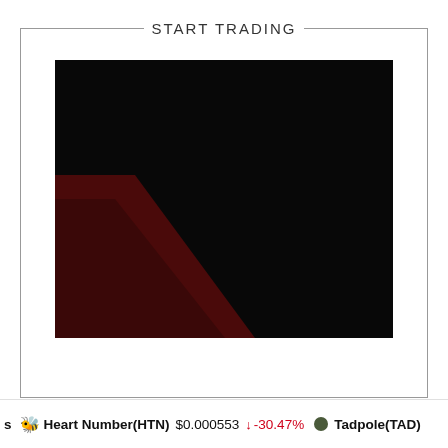START TRADING
[Figure (screenshot): Dark/black image area with a dark red triangular shape in the lower-left quadrant, resembling a trading platform or promotional visual.]
Heart Number(HTN)  $0.000553  ↓ -30.47%  Tadpole(TAD)